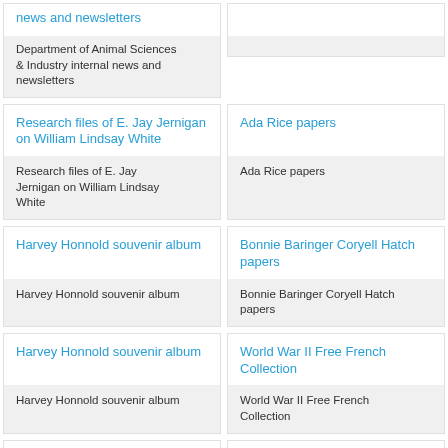news and newsletters
Department of Animal Sciences & Industry internal news and newsletters
Ada Rice papers
Ada Rice papers
Research files of E. Jay Jernigan on William Lindsay White
Research files of E. Jay Jernigan on William Lindsay White
Bonnie Baringer Coryell Hatch papers
Bonnie Baringer Coryell Hatch papers
Harvey Honnold souvenir album
Harvey Honnold souvenir album
World War II Free French Collection
World War II Free French Collection